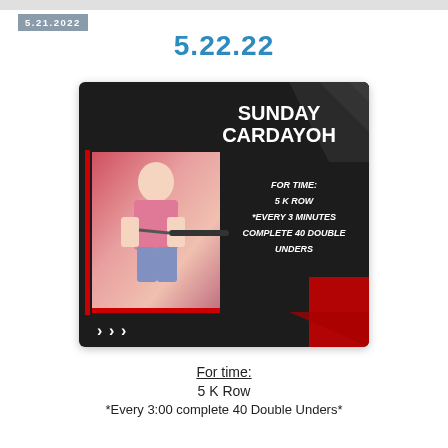5.21.2022
5.22.22
[Figure (photo): Workout announcement graphic with dark background showing a female athlete on a rowing machine. Title reads 'SUNDAY CARDAYOH'. Workout text on right: 'FOR TIME: 5 K ROW *EVERY 3 MINUTES COMPLETE 40 DOUBLE UNDERS'. Red and dark chevron design accents.]
For time:
5 K Row
*Every 3:00 complete 40 Double Unders*